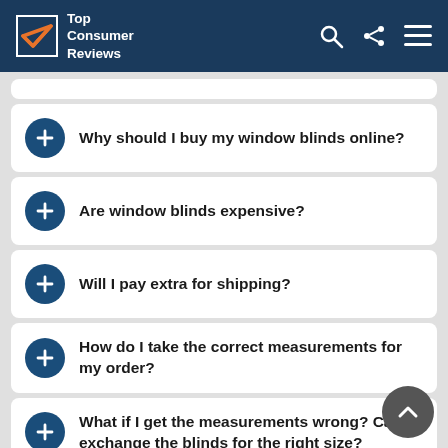Top Consumer Reviews
Why should I buy my window blinds online?
Are window blinds expensive?
Will I pay extra for shipping?
How do I take the correct measurements for my order?
What if I get the measurements wrong? Can I exchange the blinds for the right size?